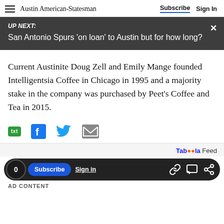Austin American-Statesman | Subscribe | Sign In
UP NEXT: San Antonio Spurs 'on loan' to Austin but for how long?
Current Austinite Doug Zell and Emily Mange founded Intelligentsia Coffee in Chicago in 1995 and a majority stake in the company was purchased by Peet's Coffee and Tea in 2015.
[Figure (infographic): Social sharing icons row: txt, Facebook, Twitter, Email]
Taboola Feed | 0 | Subscribe | Sign in | AD CONTENT